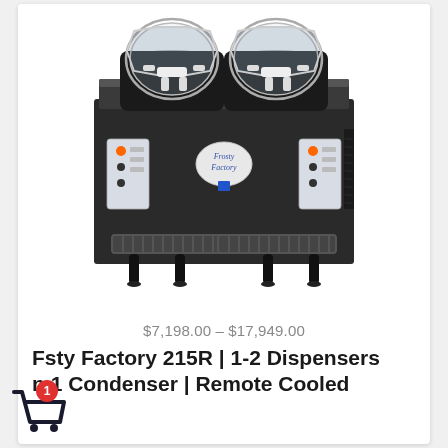[Figure (photo): Frosty Factory 215R dual-head commercial frozen drink machine, stainless steel body with two clear cylindrical dispensing chambers on top, white dispensing nozzles, control panels on each side, drip tray at the bottom, black legs.]
$7,198.00 – $17,949.00
Frosty Factory 215R | 1-2 Dispensers n 1 Condenser | Remote Cooled